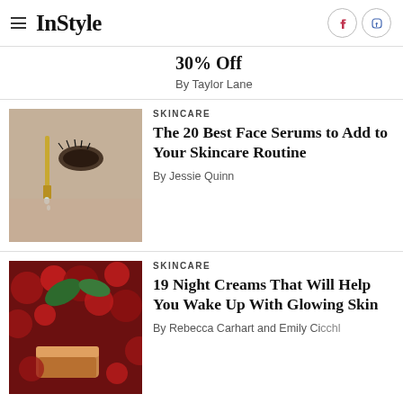InStyle
30% Off
By Taylor Lane
SKINCARE
The 20 Best Face Serums to Add to Your Skincare Routine
By Jessie Quinn
SKINCARE
19 Night Creams That Will Help You Wake Up With Glowing Skin
By Rebecca Carhart and Emily Cicchl...